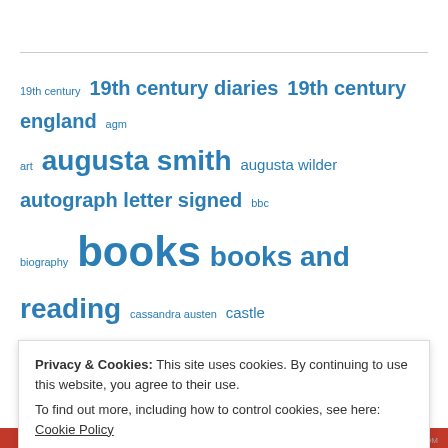Tag cloud with links: 19th century, 19th century diaries, 19th century england, agm, art, augusta smith, augusta wilder, autograph letter signed, bbc, biography, books, books and reading, cassandra austen, castle ashby, charlotte frost, correspondence, diaries, drummond smith, eliza chute, emma austen, emma austen leigh, emma smith, england, entertainment, erle stoke park, fanny seymour, fanny smith, fashion, fashion plates, hampshire, historical research, history, james edward
Privacy & Cookies: This site uses cookies. By continuing to use this website, you agree to their use. To find out more, including how to control cookies, see here: Cookie Policy
Close and accept